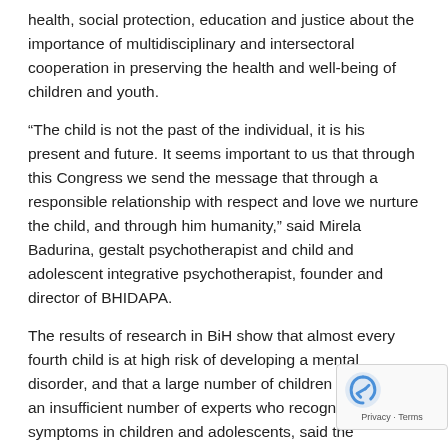health, social protection, education and justice about the importance of multidisciplinary and intersectoral cooperation in preserving the health and well-being of children and youth.
“The child is not the past of the individual, it is his present and future. It seems important to us that through this Congress we send the message that through a responsible relationship with respect and love we nurture the child, and through him humanity,” said Mirela Badurina, gestalt psychotherapist and child and adolescent integrative psychotherapist, founder and director of BHIDAPA.
The results of research in BiH show that almost every fourth child is at high risk of developing a mental disorder, and that a large number of children suffer, and an insufficient number of experts who recognize specific symptoms in children and adolescents, said the organizers.
“The use of adult psychotherapy methods in the treatment of children is considered not only inadequate but also unethical. The laws on psychotherapy in the region require that psychotherapists who work with children and youth must have special additional education,” said Sabina Zijadic Husic, psychologist, gestalt psychotherapist. both a child and adolescent integrative